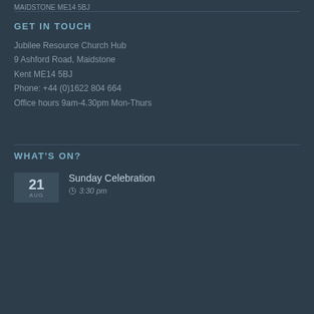MAIDSTONE ME14 5BJ
GET IN TOUCH
Jubilee Resource Church Hub
9 Ashford Road, Maidstone
Kent ME14 5BJ
Phone: +44 (0)1622 804 664
Office hours 9am-4.30pm Mon-Thurs
WHAT'S ON?
21 AUG  Sunday Celebration  3:30 pm